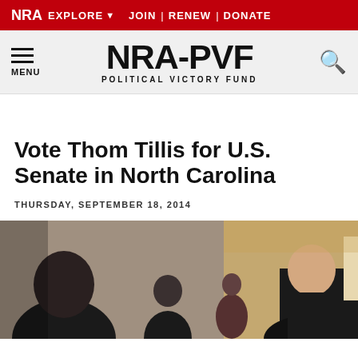NRA EXPLORE ▼  JOIN | RENEW | DONATE
NRA-PVF POLITICAL VICTORY FUND
Vote Thom Tillis for U.S. Senate in North Carolina
THURSDAY, SEPTEMBER 18, 2014
[Figure (photo): Photo of people in formal attire at what appears to be a political event or gathering, partially visible at the bottom of the page.]